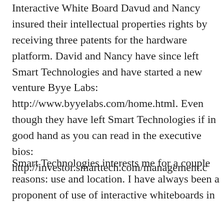Interactive White Board Davud and Nancy insured their intellectual properties rights by receiving three patents for the hardware platform. David and Nancy have since left Smart Technologies and have started a new venture Byye Labs: http://www.byyelabs.com/home.html. Even though they have left Smart Technologies if in good hand as you can read in the executive bios: http://investor.smarttech.com/management.c
Smart Technologies interests me for a couple reasons: use and location. I have always been a proponent of use of interactive whiteboards in